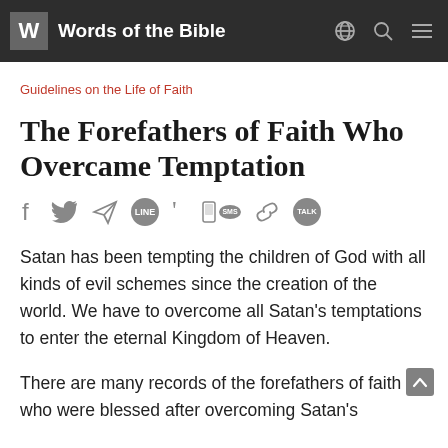W Words of the Bible
Guidelines on the Life of Faith
The Forefathers of Faith Who Overcame Temptation
[Figure (infographic): Social sharing icons row: Facebook (f), Twitter (bird), Telegram (paper plane), LINE (speech bubble), Quote mark, SMS (phone), Link (chain), KakaoTalk (speech bubble with TALK)]
Satan has been tempting the children of God with all kinds of evil schemes since the creation of the world. We have to overcome all Satan's temptations to enter the eternal Kingdom of Heaven.
There are many records of the forefathers of faith who were blessed after overcoming Satan's